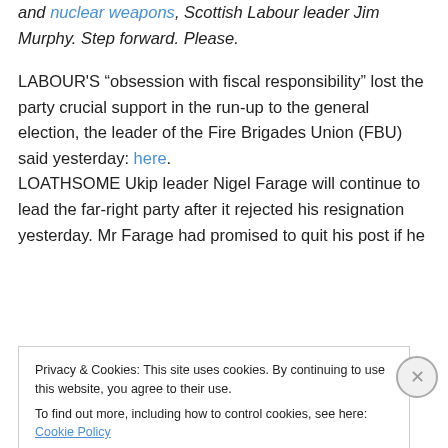and nuclear weapons, Scottish Labour leader Jim Murphy. Step forward. Please.
LABOUR'S “obsession with fiscal responsibility” lost the party crucial support in the run-up to the general election, the leader of the Fire Brigades Union (FBU) said yesterday: here.
LOATHSOME Ukip leader Nigel Farage will continue to lead the far-right party after it rejected his resignation yesterday. Mr Farage had promised to quit his post if he
Privacy & Cookies: This site uses cookies. By continuing to use this website, you agree to their use. To find out more, including how to control cookies, see here: Cookie Policy
Close and accept